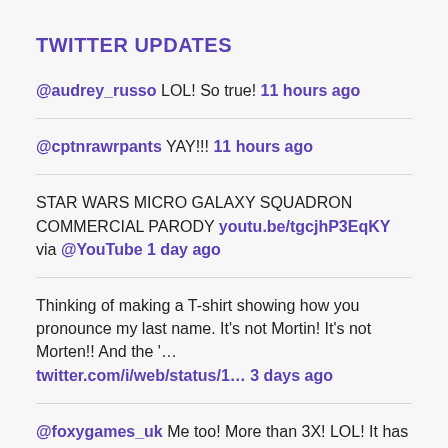TWITTER UPDATES
@audrey_russo LOL! So true! 11 hours ago
@cptnrawrpants YAY!!! 11 hours ago
STAR WARS MICRO GALAXY SQUADRON COMMERCIAL PARODY youtu.be/tgcjhP3EqKY via @YouTube 1 day ago
Thinking of making a T-shirt showing how you pronounce my last name. It's not Mortin! It's not Morten!! And the '… twitter.com/i/web/status/1… 3 days ago
@foxygames_uk Me too! More than 3X! LOL! It has one of the best stories and is probably my